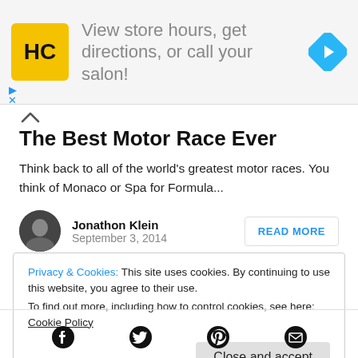[Figure (other): Advertisement banner for HC salon: yellow logo with HC text, ad text 'View store hours, get directions, or call your salon!', blue diamond navigation icon on right]
The Best Motor Race Ever
Think back to all of the world's greatest motor races. You think of Monaco or Spa for Formula...
Jonathon Klein
September 3, 2014
READ MORE
Privacy & Cookies: This site uses cookies. By continuing to use this website, you agree to their use.
To find out more, including how to control cookies, see here:
Cookie Policy
Close and accept
[Figure (other): Social media footer icons: Facebook, Twitter, Pinterest, Email]